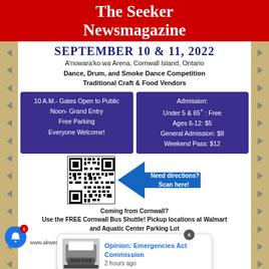The Seeker Newsmagazine
SEPTEMBER 10 & 11, 2022
A'nowara'ko:wa Arena, Cornwall Island, Ontario
Dance, Drum, and Smoke Dance Competition
Traditional Craft & Food Vendors
10 A.M.- Gates Open to Public
Noon- Grand Entry
Free Parking
Everyone Welcome!
Admission:
Under 5 & 65+ : Free
Ages 6-12: $5
General Admission: $8
Weekend Pass: $12
[Figure (other): QR code for directions to A'nowara'ko:wa Arena]
[Figure (other): Blue arrow pointing left with text: Need directions? Scan here!]
Coming from Cornwall?
Use the FREE Cornwall Bus Shuttle! Pickup locations at Walmart and Aquatic Center Parking Lot
www.akwesas...
Opinion: Emergencies Act Commission
2 hours ago